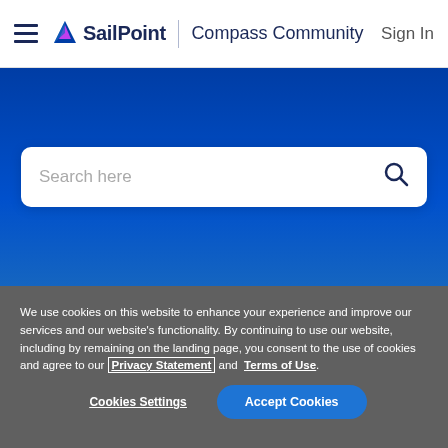SailPoint | Compass Community  Sign In
[Figure (screenshot): Blue hero banner with a search bar containing placeholder text 'Search here' and a search icon]
We use cookies on this website to enhance your experience and improve our services and our website’s functionality. By continuing to use our website, including by remaining on the landing page, you consent to the use of cookies and agree to our Privacy Statement and Terms of Use.
Cookies Settings  Accept Cookies